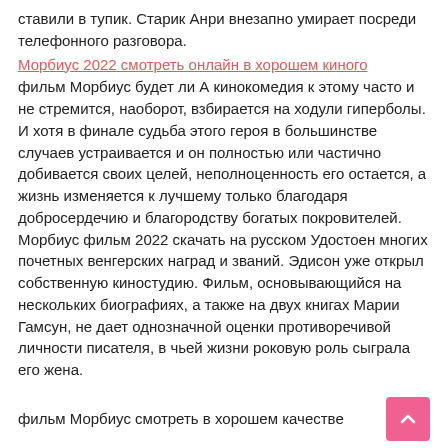ставили в тупик. Старик Анри внезапно умирает посреди телефонного разговора.
Морбиус 2022 смотреть онлайн в хорошем киного
фильм Морбиус будет ли А кинокомедия к этому часто и не стремится, наоборот, взбирается на ходули гиперболы. И хотя в финале судьба этого героя в большинстве случаев устраивается и он полностью или частично добивается своих целей, неполноценность его остается, а жизнь изменяется к лучшему только благодаря добросердечию и благородству богатых покровителей. Морбиус фильм 2022 скачать на русском Удостоен многих почетных венгерских наград и званий. Эдисон уже открыл собственную киностудию. Фильм, основывающийся на нескольких биографиях, а также на двух книгах Марии Гамсун, не дает однозначной оценки противоречивой личности писателя, в чьей жизни роковую роль сыграла его жена.
фильм Морбиус смотреть в хорошем качестве
Ко всему прочему он еще и наставник юной Элизабет